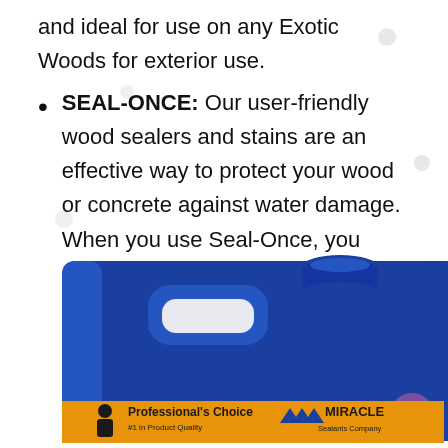and ideal for use on any Exotic Woods for exterior use.
SEAL-ONCE: Our user-friendly wood sealers and stains are an effective way to protect your wood or concrete against water damage. When you use Seal-Once, you have the satisfaction of knowing our products will not harm pets, plants, or people.
[Figure (photo): Blue plastic jug/container of Seal-Once wood sealer product. The container has a handle cutout and a blue screw cap. The label at the bottom reads "Professional's Choice - #1 in Product Quality" with the Miracle Sealants Company logo.]